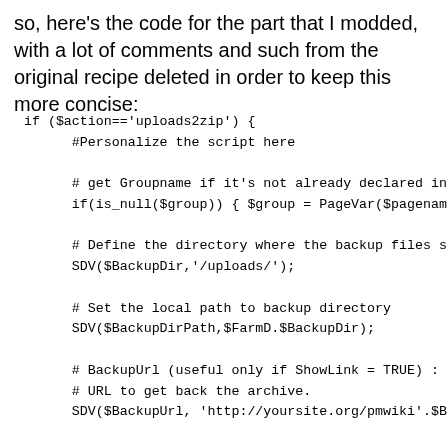so, here's the code for the part that I modded, with a lot of comments and such from the original recipe deleted in order to keep this more concise:
if ($action=='uploads2zip') {
	#Personalize the script here

		# get Groupname if it's not already declared in
		if(is_null($group)) { $group = PageVar($pagenam

		# Define the directory where the backup files s
		SDV($BackupDir,'/uploads/');

		# Set the local path to backup directory
		SDV($BackupDirPath,$FarmD.$BackupDir);

		# BackupUrl (useful only if ShowLink = TRUE) :
		# URL to get back the archive.
		SDV($BackupUrl, 'http://yoursite.org/pmwiki'.$B

		# Define the format of the compressed file
		SDV($BackupFormat,".zip");

		# Define directories to backup